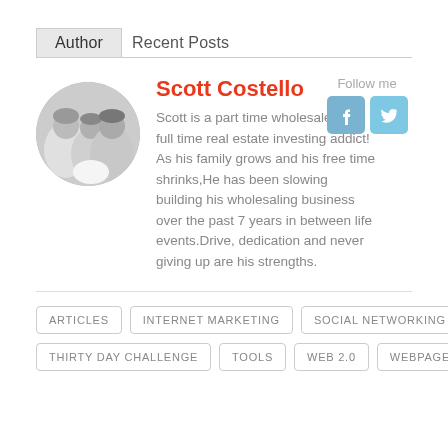Author | Recent Posts
Scott Costello
Scott is a part time wholesaler, but full time real estate investing addict! As his family grows and his free time shrinks,He has been slowing building his wholesaling business over the past 7 years in between life events.Drive, dedication and never giving up are his strengths.
ARTICLES
INTERNET MARKETING
SOCIAL NETWORKING
THIRTY DAY CHALLENGE
TOOLS
WEB 2.0
WEBPAGE